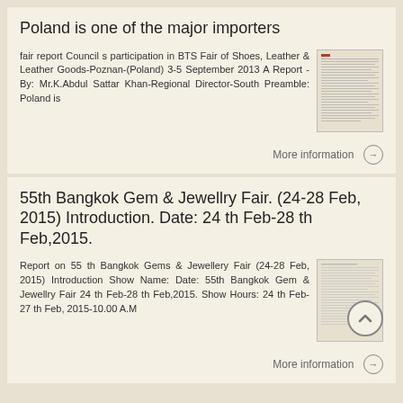Poland is one of the major importers
fair report Council s participation in BTS Fair of Shoes, Leather & Leather Goods-Poznan-(Poland) 3-5 September 2013 A Report - By: Mr.K.Abdul Sattar Khan-Regional Director-South Preamble: Poland is
More information →
55th Bangkok Gem & Jewellry Fair. (24-28 Feb, 2015) Introduction. Date: 24 th Feb-28 th Feb,2015.
Report on 55 th Bangkok Gems & Jewellery Fair (24-28 Feb, 2015) Introduction Show Name: Date: 55th Bangkok Gem & Jewellry Fair 24 th Feb-28 th Feb,2015. Show Hours: 24 th Feb-27 th Feb, 2015-10.00 A.M
More information →